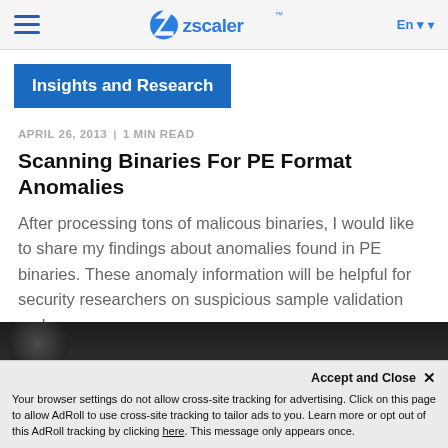Zscaler - En
Insights and Research
APRIL 26, 2013 | 1 MIN READ
Scanning Binaries For PE Format Anomalies
After processing tons of malicous binaries, I would like to share my findings about anomalies found in PE binaries. These anomaly information will be helpful for security researchers on suspicious sample validation and...
[Figure (photo): Dark background article thumbnail photo]
Your browser settings do not allow cross-site tracking for advertising. Click on this page to allow AdRoll to use cross-site tracking to tailor ads to you. Learn more or opt out of this AdRoll tracking by clicking here. This message only appears once.